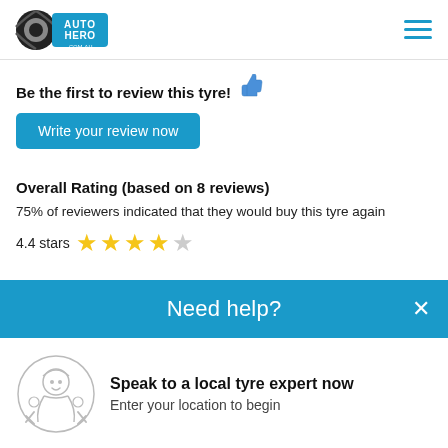[Figure (logo): AutoHero.com.au logo with tyre graphic and navigation hamburger menu]
Be the first to review this tyre! 👍
Write your review now
Overall Rating (based on 8 reviews)
75% of reviewers indicated that they would buy this tyre again
4.4 stars ★★★★☆
Need help?
Speak to a local tyre expert now
Enter your location to begin
POSTCODE  SEARCH
Noise  4